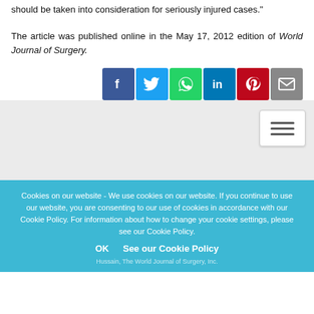should be taken into consideration for seriously injured cases."
The article was published online in the May 17, 2012 edition of World Journal of Surgery.
[Figure (other): Social sharing icons: Facebook, Twitter, WhatsApp, LinkedIn, Pinterest, Email]
[Figure (other): Hamburger menu button in gray section]
Cookies on our website - We use cookies on our website. If you continue to use our website, you are consenting to our use of cookies in accordance with our Cookie Policy. For information about how to change your cookie settings, please see our Cookie Policy.
OK   See our Cookie Policy
Hussain, The World Journal of Surgery, Inc.